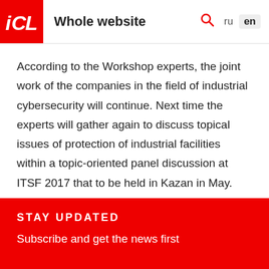ICL | Whole website | ru | en
According to the Workshop experts, the joint work of the companies in the field of industrial cybersecurity will continue. Next time the experts will gather again to discuss topical issues of protection of industrial facilities within a topic-oriented panel discussion at ITSF 2017 that to be held in Kazan in May.
Registration is now open. You can submit an application at http://itsecurityforum.ru/.
STAY UPDATED
Subscribe and get the news first